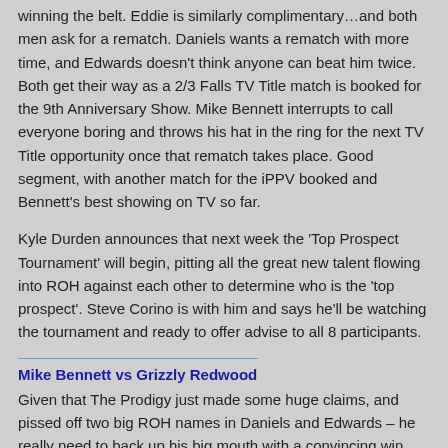winning the belt. Eddie is similarly complimentary…and both men ask for a rematch. Daniels wants a rematch with more time, and Edwards doesn't think anyone can beat him twice. Both get their way as a 2/3 Falls TV Title match is booked for the 9th Anniversary Show. Mike Bennett interrupts to call everyone boring and throws his hat in the ring for the next TV Title opportunity once that rematch takes place. Good segment, with another match for the iPPV booked and Bennett's best showing on TV so far.
Kyle Durden announces that next week the 'Top Prospect Tournament' will begin, pitting all the great new talent flowing into ROH against each other to determine who is the 'top prospect'. Steve Corino is with him and says he'll be watching the tournament and ready to offer advise to all 8 participants.
Mike Bennett vs Grizzly Redwood
Given that The Prodigy just made some huge claims, and pissed off two big ROH names in Daniels and Edwards – he really need to back up his big mouth with a convincing win over the Littlest Lumberjack.
Grizzly tries a headlock but is nonchalantly hoisted to the top rope by Bennett. Clearly Mike hasn't seen many Redwood matches as the lumberjack dives back off the ropes and sends him crashing into the